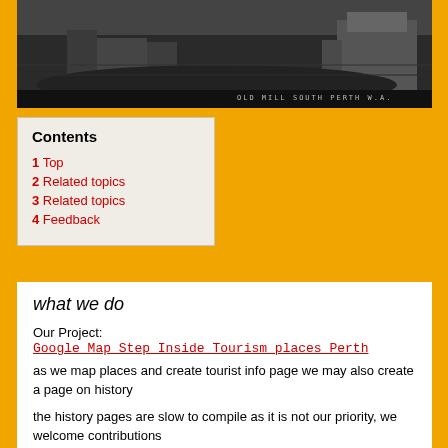[Figure (photo): Black and white historical photograph of the Old Mill, South Perth, W.A. Shows ruins of a stone mill building with surrounding landscape. Text 'OLD MILL SOUTH PERTH W.A.' visible in lower right corner.]
| 1 | Top |
| 2 | Related topics |
| 3 | Related topics |
| 4 | Feedback |
what we do
Our Project:
Google Map Step Inside Tourism places Perth
as we map places and create tourist info page we may also create a page on history
the history pages are slow to compile as it is not our priority, we welcome contributions